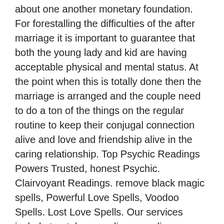about one another monetary foundation. For forestalling the difficulties of the after marriage it is important to guarantee that both the young lady and kid are having acceptable physical and mental status. At the point when this is totally done then the marriage is arranged and the couple need to do a ton of the things on the regular routine to keep their conjugal connection alive and love and friendship alive in the caring relationship. Top Psychic Readings Powers Trusted, honest Psychic. Clairvoyant Readings. remove black magic spells, Powerful Love Spells, Voodoo Spells. Lost Love Spells. Our services include tarot, love readings, mediums, astrology, horoscopes, and spiritual readings. To help you find the best psychic readers. Lost Love Spells, How to Cast a Love Spell on My Ex | Spell to Bring Back Lost Love 24 hours. Strong love spells for relationship problems – cheating, break-ups, lost love, divorce Spells for long distance and same sex relationships. Spells for reunion and reconciliation. Fast Results! Affordable Costs! Permanent Effect spell casting,